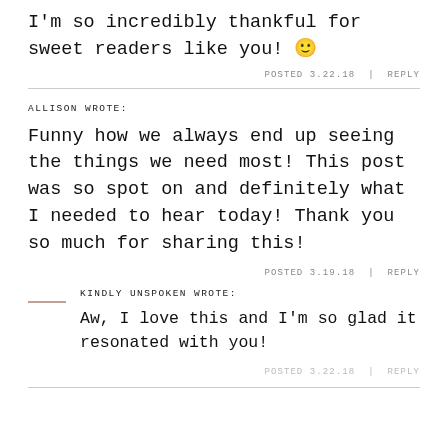I'm so incredibly thankful for sweet readers like you! 🙂
POSTED 3.22.18 | REPLY
ALLISON WROTE:
Funny how we always end up seeing the things we need most! This post was so spot on and definitely what I needed to hear today! Thank you so much for sharing this!
POSTED 3.19.18 | REPLY
KINDLY UNSPOKEN WROTE:
Aw, I love this and I'm so glad it resonated with you!
POSTED 3.22.18 | REPLY